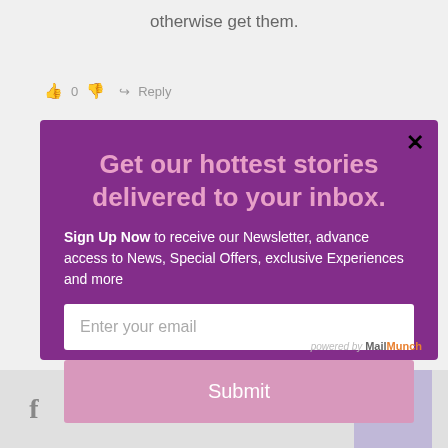otherwise get them.
0   Reply
What a great food program, I love that they offer food and learning activities over the
[Figure (screenshot): Email newsletter signup modal popup with purple background. Title: 'Get our hottest stories delivered to your inbox.' Body: 'Sign Up Now to receive our Newsletter, advance access to News, Special Offers, exclusive Experiences and more'. Email input field with placeholder 'Enter your email' and a pink Submit button. Close X button in top right. Powered by MailMunch branding at bottom.]
We'll assume you're ok with this, but you can opt-out if
powered by MailMunch